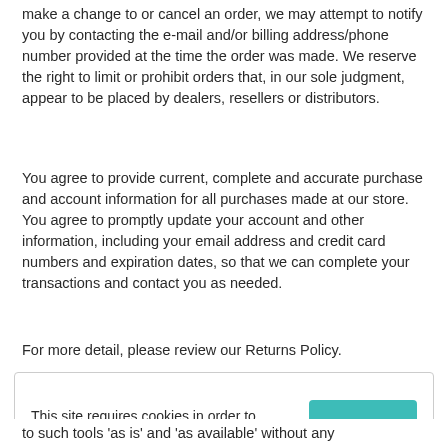make a change to or cancel an order, we may attempt to notify you by contacting the e-mail and/or billing address/phone number provided at the time the order was made. We reserve the right to limit or prohibit orders that, in our sole judgment, appear to be placed by dealers, resellers or distributors.
You agree to provide current, complete and accurate purchase and account information for all purchases made at our store. You agree to promptly update your account and other information, including your email address and credit card numbers and expiration dates, so that we can complete your transactions and contact you as needed.
For more detail, please review our Returns Policy.
This site requires cookies in order to provide all of its functionality.
Accept
to such tools 'as is' and 'as available' without any